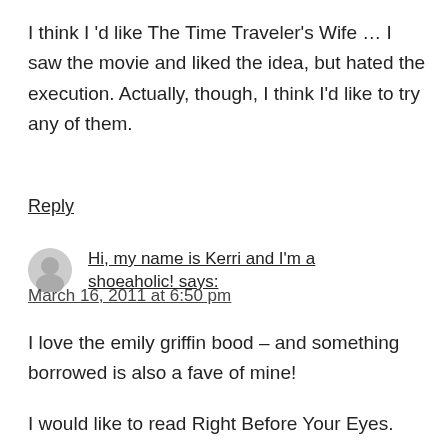I think I 'd like The Time Traveler's Wife … I saw the movie and liked the idea, but hated the execution. Actually, though, I think I'd like to try any of them.
Reply
Hi, my name is Kerri and I'm a shoeaholic! says:
March 16, 2011 at 6:50 pm
I love the emily griffin bood – and something borrowed is also a fave of mine!
I would like to read Right Before Your Eyes.